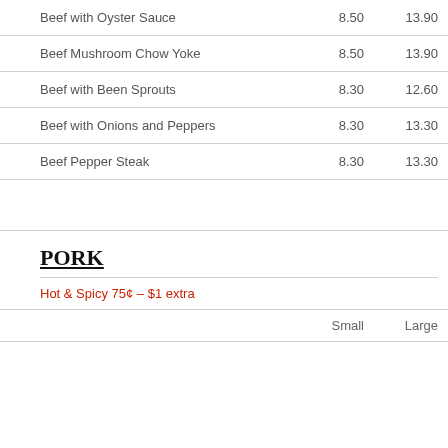| Item | Small | Large |
| --- | --- | --- |
| Beef with Oyster Sauce | 8.50 | 13.90 |
| Beef Mushroom Chow Yoke | 8.50 | 13.90 |
| Beef with Been Sprouts | 8.30 | 12.60 |
| Beef with Onions and Peppers | 8.30 | 13.30 |
| Beef Pepper Steak | 8.30 | 13.30 |
PORK
Hot & Spicy 75¢ – $1 extra
|  | Small | Large |
| --- | --- | --- |